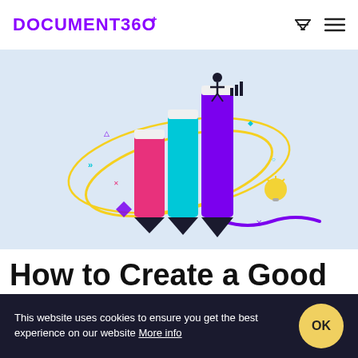DOCUMENT360
[Figure (illustration): Illustration of three stylized bar-chart bars shaped like pencils (pink, cyan, purple), with a small figure on top of the tallest purple bar, surrounded by yellow orbital rings and scattered small icons (lightbulb, diamond, arrows, sparkles, bar chart icon) on a light blue-grey background.]
How to Create a Good Internal Knowledge
This website uses cookies to ensure you get the best experience on our website More info